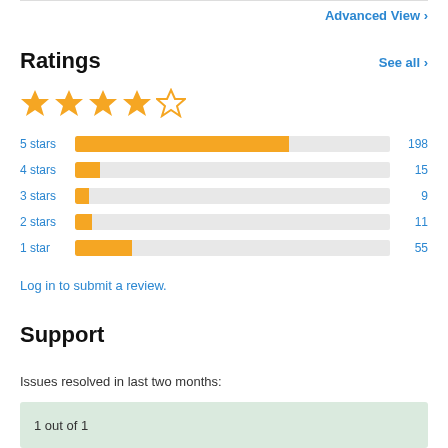Advanced View
Ratings
See all >
[Figure (other): 4 filled gold stars and 1 empty star representing a rating]
[Figure (bar-chart): Star rating distribution]
Log in to submit a review.
Support
Issues resolved in last two months:
1 out of 1